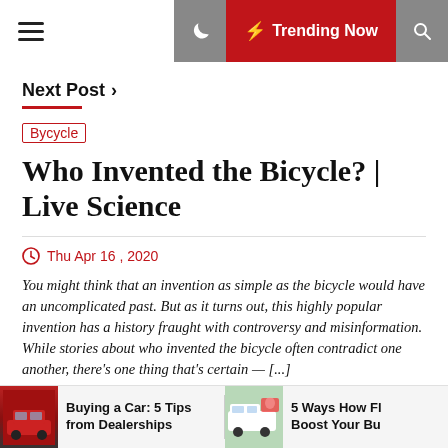☰  🌙  ⚡ Trending Now  🔍
Next Post  >
Bycycle
Who Invented the Bicycle? | Live Science
Thu Apr 16 , 2020
You might think that an invention as simple as the bicycle would have an uncomplicated past. But as it turns out, this highly popular invention has a history fraught with controversy and misinformation. While stories about who invented the bicycle often contradict one another, there's one thing that's certain — [...]
Buying a Car: 5 Tips from Dealerships
5 Ways How Fl Boost Your Bu